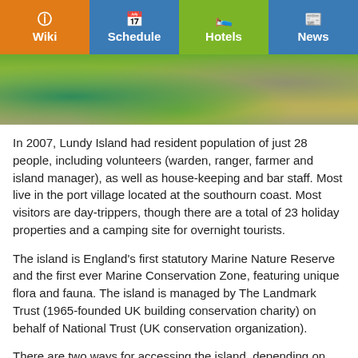Wiki | Schedule | Hotels | News
[Figure (photo): Coastal landscape of Lundy Island showing green mossy grass, rocks, and sea]
In 2007, Lundy Island had resident population of just 28 people, including volunteers (warden, ranger, farmer and island manager), as well as house-keeping and bar staff. Most live in the port village located at the southourn coast. Most visitors are day-trippers, though there are a total of 23 holiday properties and a camping site for overnight tourists.
The island is England's first statutory Marine Nature Reserve and the first ever Marine Conservation Zone, featuring unique flora and fauna. The island is managed by The Landmark Trust (1965-founded UK building conservation charity) on behalf of National Trust (UK conservation organization).
There are two ways for accessing the island, depending on the time of year.
During summer (April through October) tourists arrive on